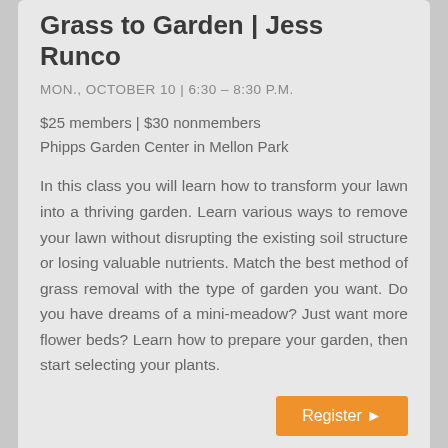Grass to Garden | Jess Runco
MON., OCTOBER 10 | 6:30 – 8:30 P.M.
$25 members | $30 nonmembers
Phipps Garden Center in Mellon Park
In this class you will learn how to transform your lawn into a thriving garden. Learn various ways to remove your lawn without disrupting the existing soil structure or losing valuable nutrients. Match the best method of grass removal with the type of garden you want. Do you have dreams of a mini-meadow? Just want more flower beds? Learn how to prepare your garden, then start selecting your plants.
Register ▶
Secret History of Plants (Phipps Walking Tour) | Boaz Frankel